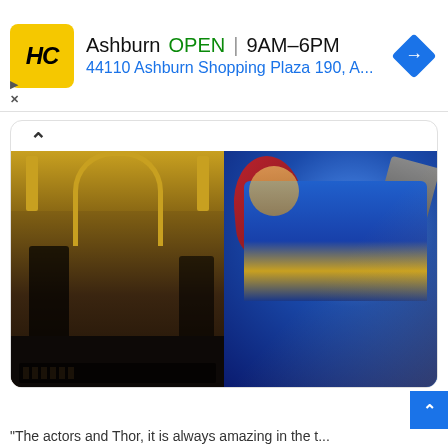[Figure (screenshot): Advertisement banner for HC (Harvest Center?) in Ashburn. Shows yellow logo with HC letters, business name Ashburn, OPEN status, hours 9AM-6PM, address 44110 Ashburn Shopping Plaza 190, A..., blue navigation arrow icon. Has play/close controls.]
[Figure (screenshot): Twitter/social media post showing two side-by-side movie images. Left image: dark movie scene with figures in ornate golden-arched interior (appears to be Thor: Love and Thunder movie still). Right image: Thor movie poster showing Chris Hemsworth as Thor in blue/red costume holding weapon against blue background. Post dated 4:32 AM · Jun 24, 2022. Has 82 likes. Actions: Reply, Copy link. Button: Read 1 reply.]
"The actors and Thor, it is always amazing in the t...